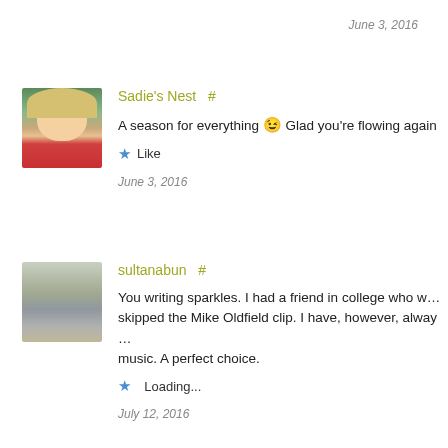June 3, 2016
Sadie's Nest  #
A season for everything 😉 Glad you're flowing again
★ Like
June 3, 2016
sultanabun  #
You writing sparkles. I had a friend in college who w... skipped the Mike Oldfield clip. I have, however, alway... music. A perfect choice.
★ Loading...
July 12, 2016